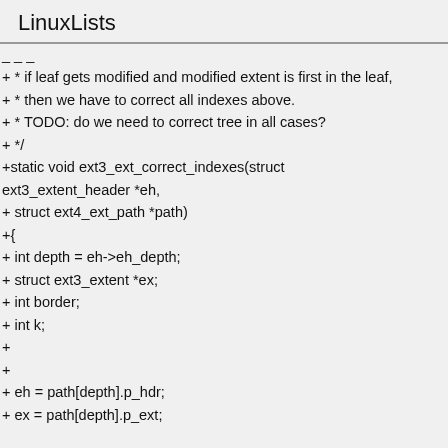LinuxLists
+ * if leaf gets modified and modified extent is first in the leaf,
+ * then we have to correct all indexes above.
+ * TODO: do we need to correct tree in all cases?
+ */
+static void ext3_ext_correct_indexes(struct ext3_extent_header *eh,
+ struct ext4_ext_path *path)
+{
+ int depth = eh->eh_depth;
+ struct ext3_extent *ex;
+ int border;
+ int k;
+
+
+ eh = path[depth].p_hdr;
+ ex = path[depth].p_ext;